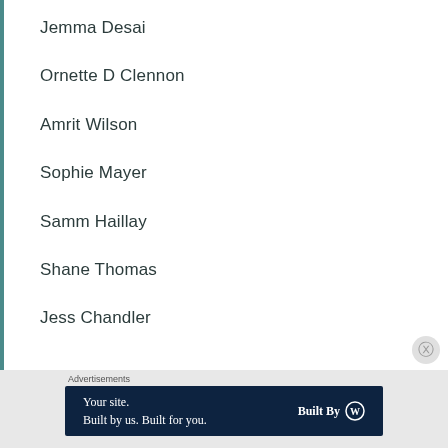Jemma Desai
Ornette D Clennon
Amrit Wilson
Sophie Mayer
Samm Haillay
Shane Thomas
Jess Chandler
Advertisements
Your site. Built by us. Built for you. Built By WordPress